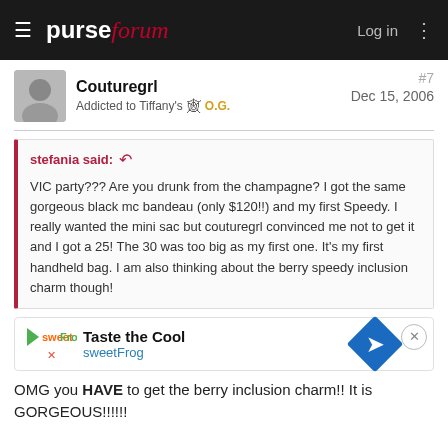purseforum — Log in
Couturegrl
Addicted to Tiffany's O.G.
#7
Dec 15, 2006
stefania said:
VIC party??? Are you drunk from the champagne? I got the same gorgeous black mc bandeau (only $120!!) and my first Speedy. I really wanted the mini sac but couturegrl convinced me not to get it and I got a 25! The 30 was too big as my first one. It's my first handheld bag. I am also thinking about the berry speedy inclusion charm though!
[Figure (screenshot): sweetFrog advertisement banner - Taste the Cool]
OMG you HAVE to get the berry inclusion charm!! It is GORGEOUS!!!!!!